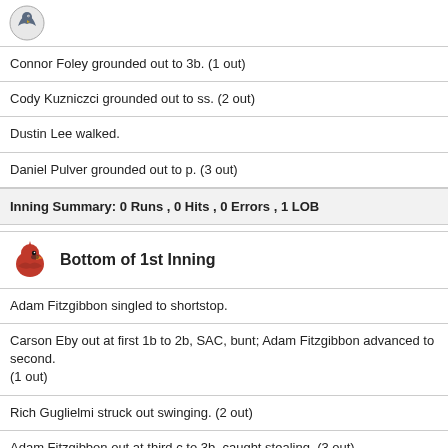[Figure (logo): Team logo (bird/mascot icon) at top left]
Connor Foley grounded out to 3b. (1 out)
Cody Kuzniczci grounded out to ss. (2 out)
Dustin Lee walked.
Daniel Pulver grounded out to p. (3 out)
Inning Summary: 0 Runs , 0 Hits , 0 Errors , 1 LOB
Bottom of 1st Inning
Adam Fitzgibbon singled to shortstop.
Carson Eby out at first 1b to 2b, SAC, bunt; Adam Fitzgibbon advanced to second. (1 out)
Rich Guglielmi struck out swinging. (2 out)
Adam Fitzgibbon out at third c to 3b, caught stealing. (3 out)